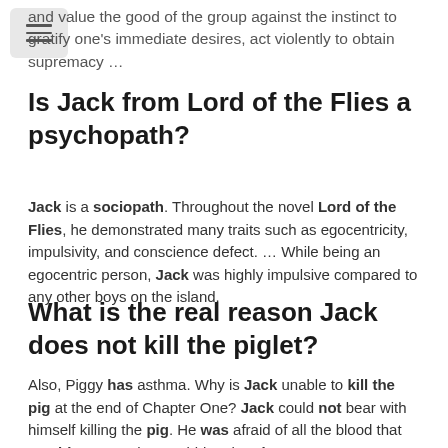and value the good of the group against the instinct to gratify one's immediate desires, act violently to obtain supremacy …
Is Jack from Lord of the Flies a psychopath?
Jack is a sociopath. Throughout the novel Lord of the Flies, he demonstrated many traits such as egocentricity, impulsivity, and conscience defect. … While being an egocentric person, Jack was highly impulsive compared to any other boys on the island.
What is the real reason Jack does not kill the piglet?
Also, Piggy has asthma. Why is Jack unable to kill the pig at the end of Chapter One? Jack could not bear with himself killing the pig. He was afraid of all the blood that would appear when stabbing the pig.